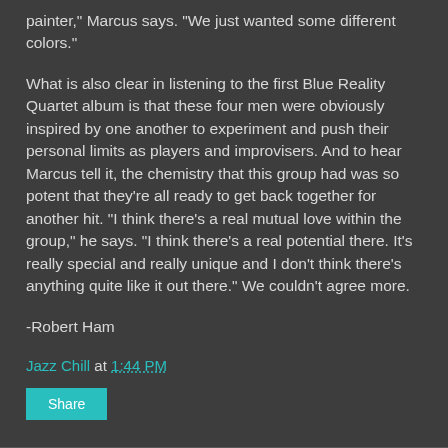painter," Marcus says. "We just wanted some different colors."
What is also clear in listening to the first Blue Reality Quartet album is that these four men were obviously inspired by one another to experiment and push their personal limits as players and improvisers. And to hear Marcus tell it, the chemistry that this group had was so potent that they're all ready to get back together for another hit. "I think there's a real mutual love within the group," he says. "I think there's a real potential there. It's really special and really unique and I don't think there's anything quite like it out there." We couldn't agree more.
-Robert Ham
Jazz Chill at 1:44 PM